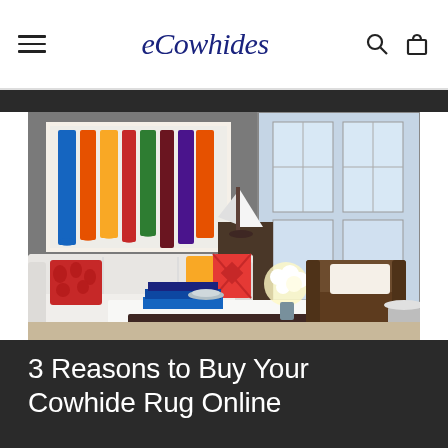eCowhides
[Figure (photo): Interior living room photo showing a white sofa with red and yellow decorative pillows, a brown leather armchair, a sailboat model on a side table, a colorful abstract painting on the wall, a white coffee table with books and decor, and large windows in the background.]
3 Reasons to Buy Your Cowhide Rug Online